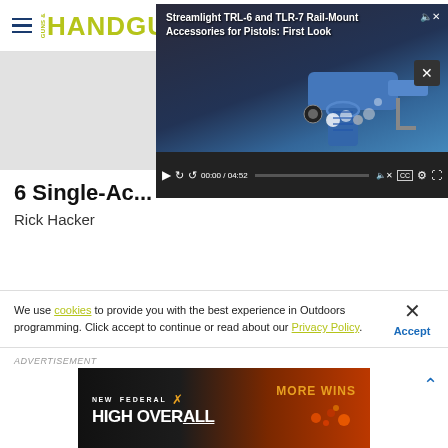HANDGUNS - Subscribe
[Figure (screenshot): Video player showing 'Streamlight TRL-6 and TLR-7 Rail-Mount Accessories for Pistols: First Look' with blue pistol, timestamp 00:00 / 04:52]
6 Single-Ac...
Rick Hacker
We use cookies to provide you with the best experience in Outdoors programming. Click accept to continue or read about our Privacy Policy.
[Figure (other): Federal 'New High Overall - More Wins' advertisement banner with dark and orange background]